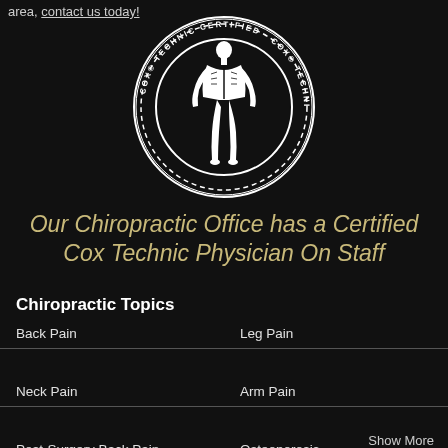area, contact us today!
[Figure (logo): Cox Technic Certified seal — circular badge with gear-like border, text 'COX® TECHNIC CERTIFIED' around the ring, anatomical figure of a human skeleton/musculature in the center, black and white]
Our Chiropractic Office has a Certified Cox Technic Physician On Staff
Chiropractic Topics
Back Pain
Leg Pain
Neck Pain
Arm Pain
Post-Surgery Back Pain
Osteoporosis
Headache
Low Back Pain
Show More